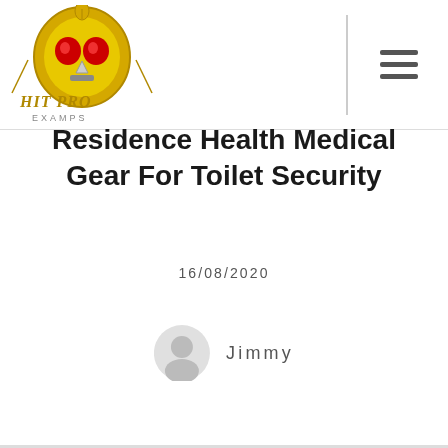Hit Pro Examps — logo and navigation
Residence Health Medical Gear For Toilet Security
16/08/2020
Jimmy